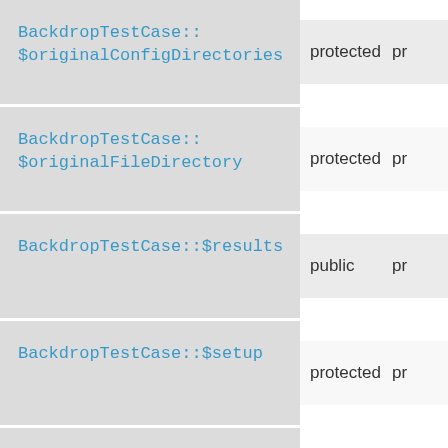| Name | Visibility | Type |
| --- | --- | --- |
| BackdropTestCase::$originalConfigDirectories | protected | pr |
| BackdropTestCase::$originalFileDirectory | protected | pr |
| BackdropTestCase::$results | public | pr |
| BackdropTestCase::$setup | protected | pr |
| BackdropTestCase:: |  |  |